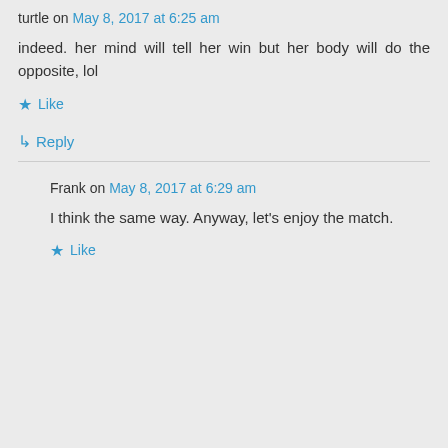turtle on May 8, 2017 at 6:25 am
indeed. her mind will tell her win but her body will do the opposite, lol
★ Like
↳ Reply
Frank on May 8, 2017 at 6:29 am
I think the same way. Anyway, let's enjoy the match.
★ Like